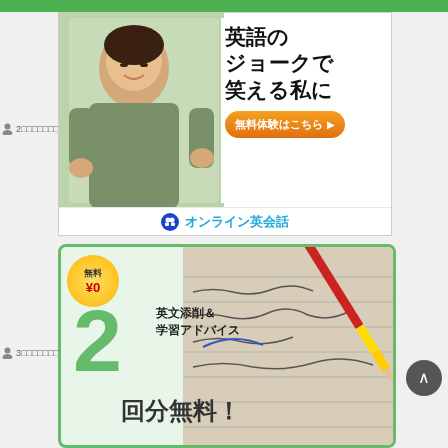[Figure (illustration): Green bar at top of page]
👤 2□□□□□□□□□□□□□
[Figure (infographic): Online English conversation school ad. Shows woman smiling at laptop. Text: 英語のジョークで笑える私に (Become someone who can laugh at English jokes). Orange button: 無料体験はこちら (Free trial here). Footer: オンライン英会話 (Online English conversation)]
👤 3□□□□□□□□□□□□□□□
[Figure (infographic): English writing correction service ad. Gold badge: 無料 ¥0 (Free ¥0). Large green number 2. Text: 英文添削＆学習アドバイス 2回分無料！ (English writing correction & study advice 2 sessions free!). Background shows handwriting on paper with red pencil.]